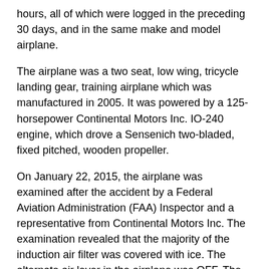hours, all of which were logged in the preceding 30 days, and in the same make and model airplane.
The airplane was a two seat, low wing, tricycle landing gear, training airplane which was manufactured in 2005. It was powered by a 125-horsepower Continental Motors Inc. IO-240 engine, which drove a Sensenich two-bladed, fixed pitched, wooden propeller.
On January 22, 2015, the airplane was examined after the accident by a Federal Aviation Administration (FAA) Inspector and a representative from Continental Motors Inc. The examination revealed that the majority of the induction air filter was covered with ice. The alternate air lever in the airplane was OFF. The engine cylinders each displayed normal operating signatures. The spark plugs displayed normal wear signatures when compared to a Champion Aviation Service Manual No. AV6-R. Internal crankshaft continuity was established by rotating the propeller. Additionally, all four cylinders displayed thumb suction and compression. The top spark plugs and ignition leads were reinstalled for an engine operational test run. The air filter